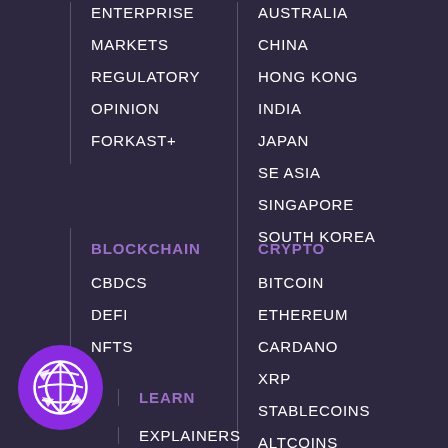ENTERPRISE
MARKETS
REGULATORY
OPINION
FORKAST+
AUSTRALIA
CHINA
HONG KONG
INDIA
JAPAN
SE ASIA
SINGAPORE
SOUTH KOREA
BLOCKCHAIN
CBDCS
DEFI
NFTS
CRYPTO
BITCOIN
ETHEREUM
CARDANO
XRP
STABLECOINS
ALTCOINS
[Figure (logo): Forkast purple circular logo with stylized globe/network icon]
LEARN
EXPLAINERS